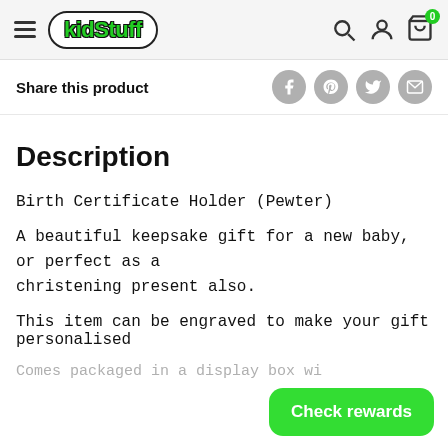kidStuff — navigation header with hamburger menu, logo, search, account, and cart icons
Share this product
Description
Birth Certificate Holder (Pewter)
A beautiful keepsake gift for a new baby, or perfect as a christening present also.
This item can be engraved to make your gift personalised
Comes packaged in a display box wi